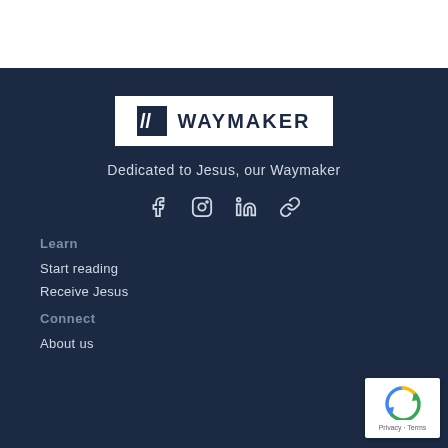[Figure (logo): Waymaker logo: white rectangle with dark background icon of double-slash and WAYMAKER text]
Dedicated to Jesus, our Waymaker
[Figure (other): Social media icons: Facebook, Instagram, LinkedIn, Link]
Learn
Start reading
Receive Jesus
Connect
About us